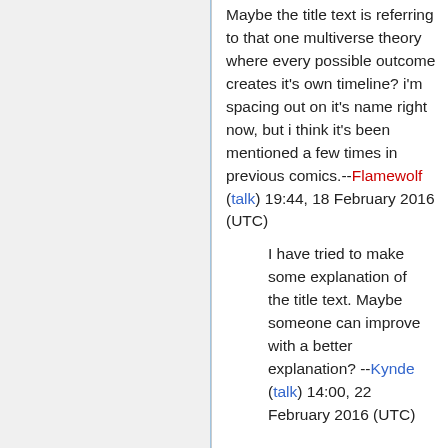Maybe the title text is referring to that one multiverse theory where every possible outcome creates it's own timeline? i'm spacing out on it's name right now, but i think it's been mentioned a few times in previous comics.--Flamewolf (talk) 19:44, 18 February 2016 (UTC)
I have tried to make some explanation of the title text. Maybe someone can improve with a better explanation? --Kynde (talk) 14:00, 22 February 2016 (UTC)
Regarding the Incomplete reasoning: "There may be